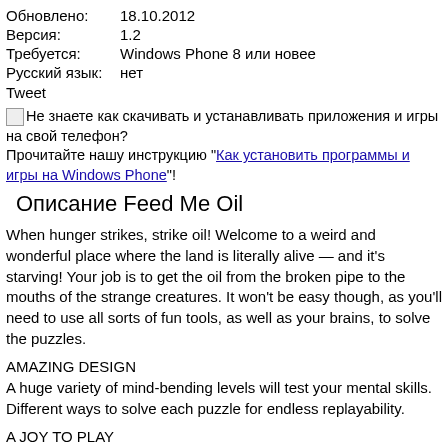| Обновлено: | 18.10.2012 |
| Версия: | 1.2 |
| Требуется: | Windows Phone 8 или новее |
| Русский язык: | нет |
Tweet
🖼 Не знаете как скачивать и устанавливать приложения и игры на свой телефон?
Прочитайте нашу инструкцию "Как установить программы и игры на Windows Phone"!
Описание Feed Me Oil
When hunger strikes, strike oil! Welcome to a weird and wonderful place where the land is literally alive — and it's starving! Your job is to get the oil from the broken pipe to the mouths of the strange creatures. It won't be easy though, as you'll need to use all sorts of fun tools, as well as your brains, to solve the puzzles.
AMAZING DESIGN
A huge variety of mind-bending levels will test your mental skills. Different ways to solve each puzzle for endless replayability.
A JOY TO PLAY
Intuitive controls that make the game a breeze to pick up. Incredibly slick and realistic physics create oil like you've never seen. Use fans, magnets, wind, and more to beat each level.